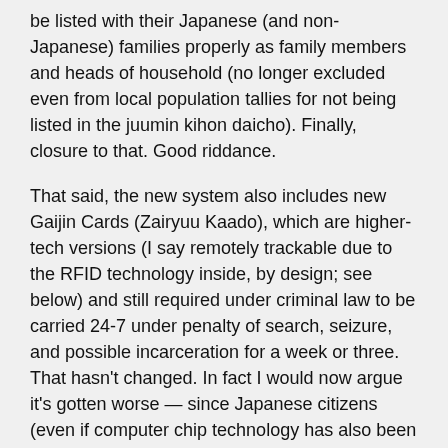be listed with their Japanese (and non-Japanese) families properly as family members and heads of household (no longer excluded even from local population tallies for not being listed in the juumin kihon daicho). Finally, closure to that. Good riddance.
That said, the new system also includes new Gaijin Cards (Zairyuu Kaado), which are higher-tech versions (I say remotely trackable due to the RFID technology inside, by design; see below) and still required under criminal law to be carried 24-7 under penalty of search, seizure, and possible incarceration for a week or three. That hasn't changed. In fact I would now argue it's gotten worse — since Japanese citizens (even if computer chip technology has also been introduced into J driver licenses and passports, which not all Japanese get anyway) are not required by law to carry any ID whatsoever at all times. Some historical links regarding the true intention of the ZRK (tracking and control of untrustworthy NJ, not convenience for them as is generally sold) follow.
I'll paste some articles below and let's see what the media has made of this. Feel free to tell us how the changes have been affecting you as well.